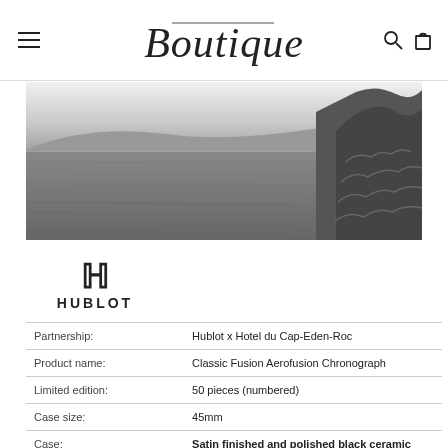Boutique
[Figure (photo): Black and white landscape photograph showing a large body of water with rocky cliffs and hills in the background]
[Figure (logo): Hublot brand logo with stylized H symbol above the text HUBLOT]
| Partnership: | Hublot x Hotel du Cap-Eden-Roc |
| Product name: | Classic Fusion Aerofusion Chronograph |
| Limited edition: | 50 pieces (numbered) |
| Case size: | 45mm |
| Case: | Satin finished and polished black ceramic |
| Bezel: | Satin finished and polished black ceramic |